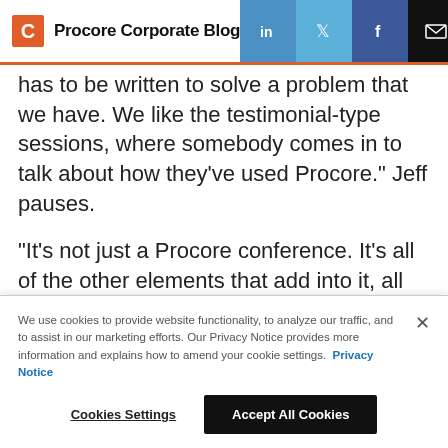Procore Corporate Blog
has to be written to solve a problem that we have. We like the testimonial-type sessions, where somebody comes in to talk about how they've used Procore.” Jeff pauses.
“It’s not just a Procore conference. It’s all of the other elements that add into it, all the different speakers from different parts of the industry, the new products that you can see integrating
We use cookies to provide website functionality, to analyze our traffic, and to assist in our marketing efforts. Our Privacy Notice provides more information and explains how to amend your cookie settings. Privacy Notice
Cookies Settings  Accept All Cookies